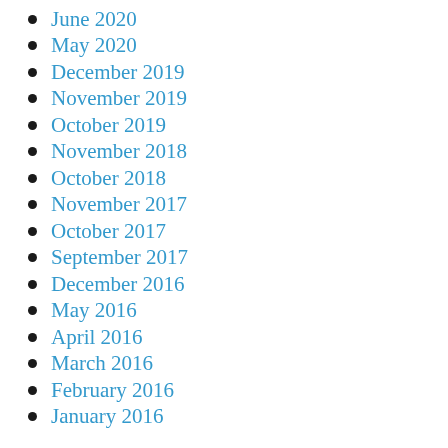June 2020
May 2020
December 2019
November 2019
October 2019
November 2018
October 2018
November 2017
October 2017
September 2017
December 2016
May 2016
April 2016
March 2016
February 2016
January 2016